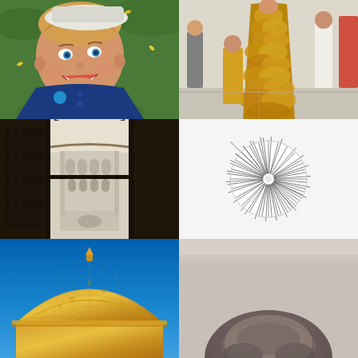[Figure (photo): Woman with short blonde hair wearing a blue jacket and white hat, lying on green grass with yellow flower petals scattered around, smiling at the camera. A blue circular badge on her jacket.]
[Figure (photo): People at an art or fashion event indoors; a person wearing an elaborate gold leaf/scale costume in the center, walking through a gallery or exhibition space with other visitors.]
[Figure (photo): Black and white photograph looking down through ornate Moorish or Indian architectural windows/screens (jali lattice), with an ornate courtyard palace visible below.]
[Figure (photo): White background with a circular art piece in the center: a disk featuring spiraling geometric string-art lines radiating from the center in a pinwheel/vortex pattern, black lines on light background.]
[Figure (photo): Golden-colored stone dome or cupola of an Indian or Middle Eastern building against a vivid blue sky, close-up view showing ornate carved stonework.]
[Figure (photo): Blurred close-up photograph of the top of a man's head showing dark hair, very shallow depth of field, mostly out of focus.]